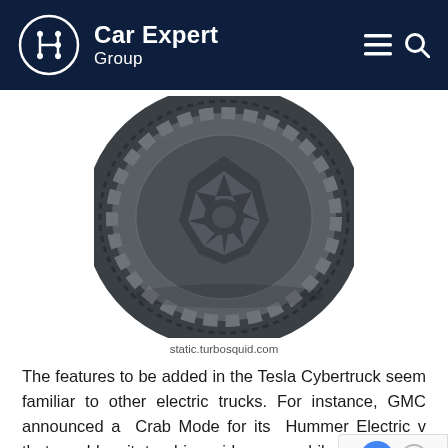Car Expert Group
[Figure (photo): 3D render of a large off-road truck tire with aggressive tread pattern and geometric hub, dark grey color, viewed from a slight angle. Image credit: static.turbosquid.com]
static.turbosquid.com
The features to be added in the Tesla Cybertruck seem familiar to other electric trucks. For instance, GMC announced a Crab Mode for its Hummer Electric v that enables it to drive sideways, while Rivian has shown